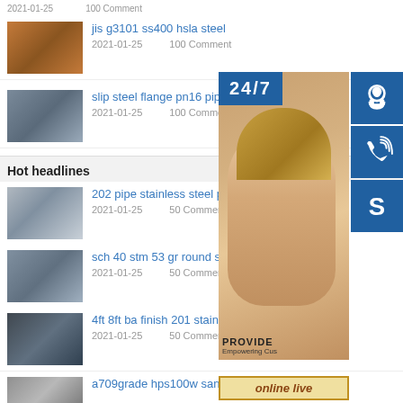2021-01-25   100 Comment
jis g3101 ss400 hsla steel | 2021-01-25   100 Comment
slip steel flange pn16 pipe dream | 2021-01-25   100 Comment
Hot headlines
202 pipe stainless steel price che | 2021-01-25   50 Comment
sch 40 stm 53 gr round semless steel pipe fluids | 2021-01-25   50 Comment
4ft 8ft ba finish 201 stainless steel plate | 2021-01-25   50 Comment
a709grade hps100w san marino bond
[Figure (infographic): Floating support panel with 24/7 label, a woman with headset, phone icon, Skype icon, headset icon, PROVIDE Empowering Customers text, and online live button]